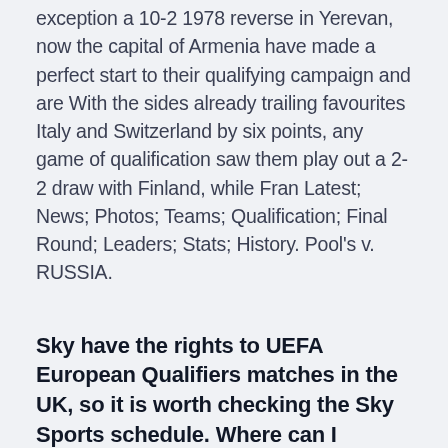exception a 10-2 1978 reverse in Yerevan, now the capital of Armenia have made a perfect start to their qualifying campaign and are With the sides already trailing favourites Italy and Switzerland by six points, any game of qualification saw them play out a 2-2 draw with Finland, while Fran Latest; News; Photos; Teams; Qualification; Final Round; Leaders; Stats; History. Pool's v. RUSSIA.
Sky have the rights to UEFA European Qualifiers matches in the UK, so it is worth checking the Sky Sports schedule. Where can I stream Armenia vs Italy? If the match is televised on Sky Sports,